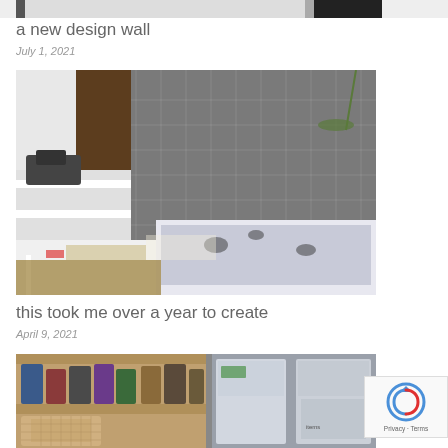[Figure (photo): Top strip of a partially visible blog post image]
a new design wall
July 1, 2021
[Figure (photo): Interior room photo showing a sewing machine on a white shelving unit against a dark gray gridded design wall, with a white table in the foreground covered in fabric and pattern pieces, wooden floor visible]
this took me over a year to create
April 9, 2021
[Figure (photo): Partially visible photo of pantry storage shelves with canned goods and clear storage containers]
[Figure (other): reCAPTCHA badge with Google logo and Privacy - Terms text]